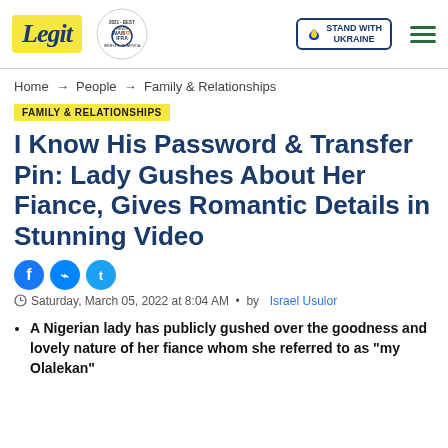Legit | WAN IFRA 2021 Best News Website in Africa | Stand With Ukraine
Home → People → Family & Relationships
FAMILY & RELATIONSHIPS
I Know His Password & Transfer Pin: Lady Gushes About Her Fiance, Gives Romantic Details in Stunning Video
Saturday, March 05, 2022 at 8:04 AM • by Israel Usulor
A Nigerian lady has publicly gushed over the goodness and lovely nature of her fiance whom she referred to as "my Olalekan"